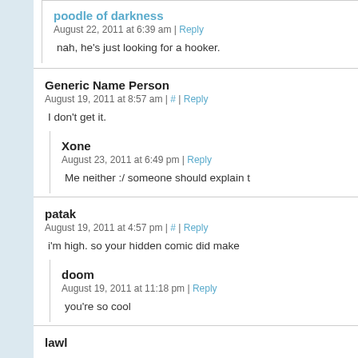poodle of darkness — August 22, 2011 at 6:39 am | Reply
nah, he's just looking for a hooker.
Generic Name Person — August 19, 2011 at 8:57 am | # | Reply
I don't get it.
Xone — August 23, 2011 at 6:49 pm | Reply
Me neither :/ someone should explain t
patak — August 19, 2011 at 4:57 pm | # | Reply
i'm high. so your hidden comic did make
doom — August 19, 2011 at 11:18 pm | Reply
you're so cool
lawl